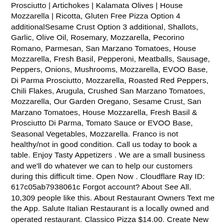Prosciutto | Artichokes | Kalamata Olives | House Mozzarella | Ricotta, Gluten Free Pizza Option 4 additionalSesame Crust Option 3 additional, Shallots, Garlic, Olive Oil, Rosemary, Mozzarella, Pecorino Romano, Parmesan, San Marzano Tomatoes, House Mozzarella, Fresh Basil, Pepperoni, Meatballs, Sausage, Peppers, Onions, Mushrooms, Mozzarella, EVOO Base, Di Parma Prosciutto, Mozzarella, Roasted Red Peppers, Chili Flakes, Arugula, Crushed San Marzano Tomatoes, Mozzarella, Our Garden Oregano, Sesame Crust, San Marzano Tomatoes, House Mozzarella, Fresh Basil & Prosciutto Di Parma, Tomato Sauce or EVOO Base, Seasonal Vegetables, Mozzarella. Franco is not healthy/not in good condition. Call us today to book a table. Enjoy Tasty Appetizers . We are a small business and we'll do whatever we can to help our customers during this difficult time. Open Now . Cloudflare Ray ID: 617c05ab7938061c Forgot account? About See All. 10,309 people like this. About Restaurant Owners Text me the App. Salute Italian Restaurant is a locally owned and operated restaurant. Classico Pizza $14.00. Create New Account. Phone: 215-736-1978. You are the portrait of health! salute italian restaurant gulfport ms, site:zomato.com the salute italian restaurant 39501, salute italian restaurant supreme catfish, salute menu, salute a long beach mississippi, Back icon It ... 4.7. or. Vincenzo Severino has over 40 years of